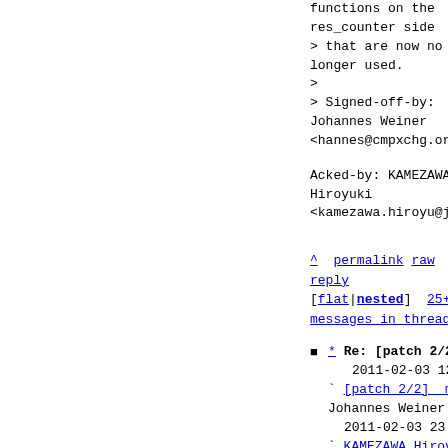functions on the
res_counter side
> that are now no
longer used.
>
> Signed-off-by:
Johannes Weiner
<hannes@cmpxchg.org>
Acked-by: KAMEZAWA
Hiroyuki
<kamezawa.hiroyu@jp.f...
^ permalink raw reply
[flat|nested] 25+
messages in thread
* Re: [patch 2/2]
memcg: simplify the
way memory limits
are checked
    2011-02-03 12:56
` [patch 2/2]_
memcg: simplify the
way memory limits
are checked
Johannes Weiner
  2011-02-03 23:44
` KAMEZAWA Hiroyuki...